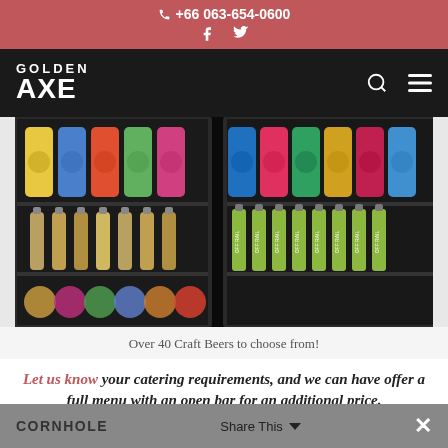+66 063-654-0600
Golden Axe
[Figure (photo): A refrigerated display case stocked with over 40 craft beers, including cans and bottles. Right side shows bottles labeled 'Off Rail'.]
Over 40 Craft Beers to choose from!
Let us know your catering requirements, and we can have offer a full menu with an open bar for an additional price.
Book Now and get these free add-ons!
CORNHOLE   Share This   ×